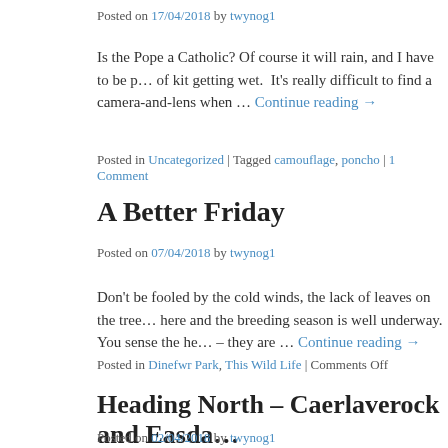Posted on 17/04/2018 by twynog1
Is the Pope a Catholic? Of course it will rain, and I have to be p… of kit getting wet. It's really difficult to find a camera-and-lens when … Continue reading →
Posted in Uncategorized | Tagged camouflage, poncho | 1 Comment
A Better Friday
Posted on 07/04/2018 by twynog1
Don't be fooled by the cold winds, the lack of leaves on the tree… here and the breeding season is well underway. You sense the he… – they are … Continue reading →
Posted in Dinefwr Park, This Wild Life | Comments Off
Heading North – Caerlaverock and Easda…
Posted on 02/04/2018 by twynog1